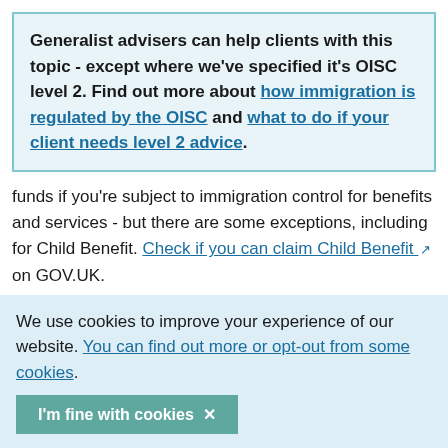Generalist advisers can help clients with this topic - except where we've specified it's OISC level 2. Find out more about how immigration is regulated by the OISC and what to do if your client needs level 2 advice.
funds if you're subject to immigration control for benefits and services - but there are some exceptions, including for Child Benefit. Check if you can claim Child Benefit on GOV.UK.
We use cookies to improve your experience of our website. You can find out more or opt-out from some cookies.